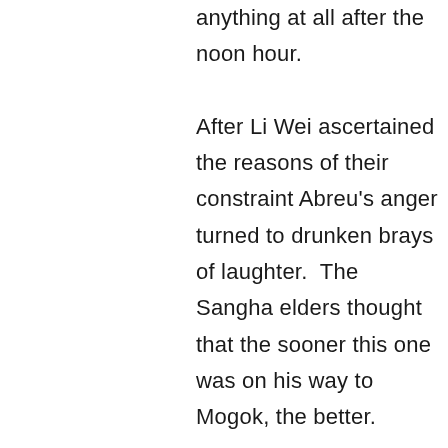anything at all after the noon hour. After Li Wei ascertained the reasons of their constraint Abreu's anger turned to drunken brays of laughter. The Sangha elders thought that the sooner this one was on his way to Mogok, the better. Early the next morning the party set off for Mogok. They were heavily armed this time, carrying harquebuses, a hand cannon, crossbows, pikes and personal bladed weapons. Abreu, Li Wei and three seasoned crew members rode horseback, three more crew walked behind the pack horses, and the